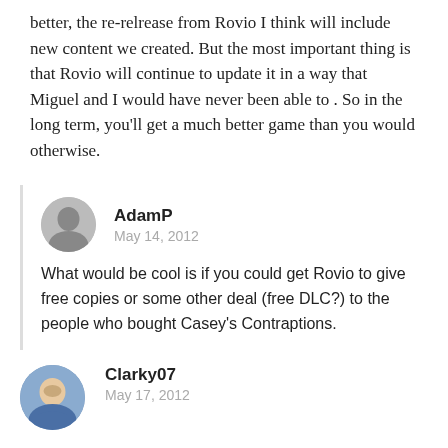better, the re-relrease from Rovio I think will include new content we created. But the most important thing is that Rovio will continue to update it in a way that Miguel and I would have never been able to . So in the long term, you'll get a much better game than you would otherwise.
AdamP
May 14, 2012
What would be cool is if you could get Rovio to give free copies or some other deal (free DLC?) to the people who bought Casey's Contraptions.
Clarky07
May 17, 2012